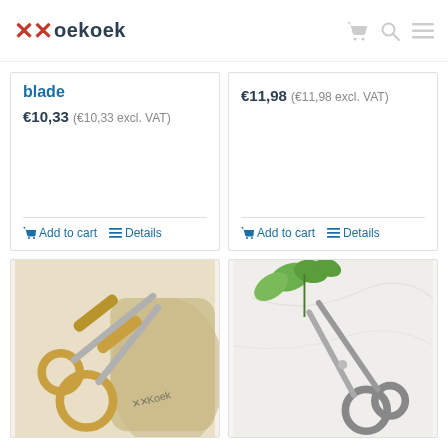Koekoek
blade
€10,33 (€10,33 excl. VAT)
Add to cart | Details
€11,98 (€11,98 excl. VAT)
Add to cart | Details
[Figure (photo): Gold scissors with decorative handles resting on a linen pouch with Koekoek branding]
[Figure (photo): Silver scissors on a white marble surface with green plant leaves]